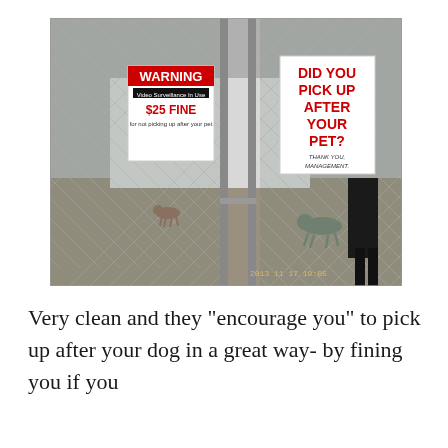[Figure (photo): Photo of a dog park or pet area enclosed by chain-link fence. A gate in the foreground has two signs attached: on the left, a white sign reading 'WARNING / Video Surveillance In Use / $25 FINE / for not picking up after your pet'; on the right, a larger white sign reading 'DID YOU PICK UP AFTER YOUR PET? / THANK YOU, MANAGEMENT'. Inside the fenced area, gravel ground and two dogs are visible. A person in dark pants stands near the gate. A date/time stamp reads '2013 11 17 19:05' in the lower right of the photo.]
Very clean and they "encourage you" to pick up after your dog in a great way- by fining you if you